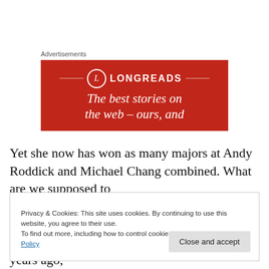Advertisements
[Figure (illustration): Longreads advertisement banner on red background with logo circle containing L, text LONGREADS, and tagline 'The best stories on the web – ours, and']
Yet she now has won as many majors at Andy Roddick and Michael Chang combined. What are we supposed to
Privacy & Cookies: This site uses cookies. By continuing to use this website, you agree to their use.
To find out more, including how to control cookies, see here: Cookie Policy
[Close and accept]
in Cincinnati after she won Wimbledon three years ago,